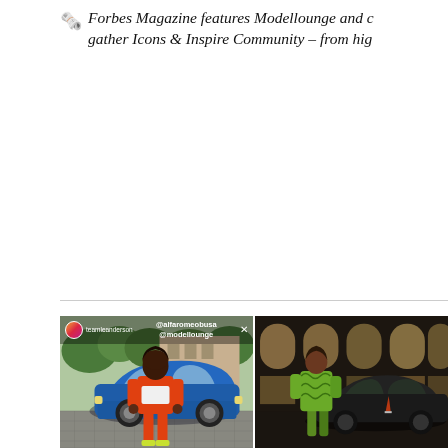Forbes Magazine features Modellounge and c... gather Icons & Inspire Community – from high...
[Figure (photo): Two side-by-side photos. Left: A woman in an orange tracksuit with white crop top and neon yellow shoes poses in front of a blue Alfa Romeo car on cobblestone street, with Instagram story overlay showing @alfaromeobusa and @modellounge handles. Right: A woman in a green patterned outfit leans against a dark luxury car at night in front of a building with large windows.]